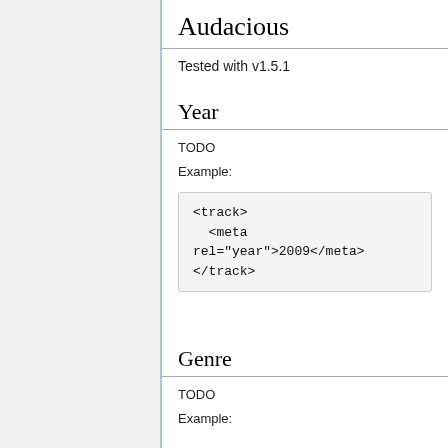Audacious
Tested with v1.5.1
Year
TODO
Example:
<track>
  <meta rel="year">2009</meta>
</track>
Genre
TODO
Example: